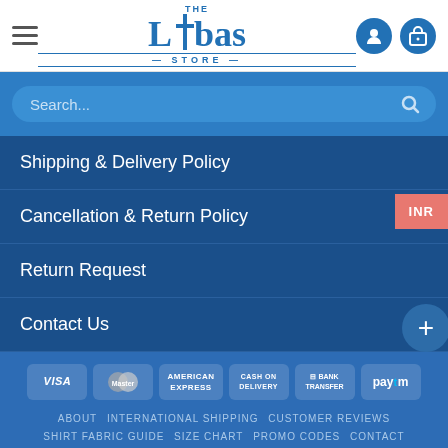[Figure (logo): The Libas Store logo in blue with hamburger menu icon on left and user/cart icons on right]
Search...
Shipping & Delivery Policy
Cancellation & Return Policy
Return Request
Contact Us
[Figure (infographic): Payment method icons: VISA, MasterCard, American Express, Cash on Delivery, Bank Transfer, Paytm]
ABOUT  INTERNATIONAL SHIPPING  CUSTOMER REVIEWS  SHIRT FABRIC GUIDE  SIZE CHART  PROMO CODES  CONTACT  FAQ
© 2018 THE LIBAS STORE